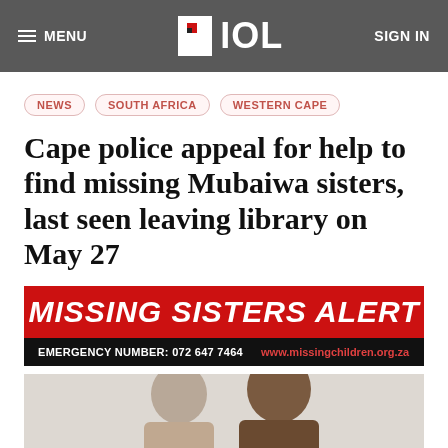MENU  IOL  SIGN IN
NEWS
SOUTH AFRICA
WESTERN CAPE
Cape police appeal for help to find missing Mubaiwa sisters, last seen leaving library on May 27
[Figure (photo): Missing Sisters Alert banner with red background showing 'MISSING SISTERS ALERT' in large white italic text, and a black bar below with 'EMERGENCY NUMBER: 072 647 7464' and 'www.missingchildren.org.za']
[Figure (photo): Partial photo of two young women, cropped at bottom of page]